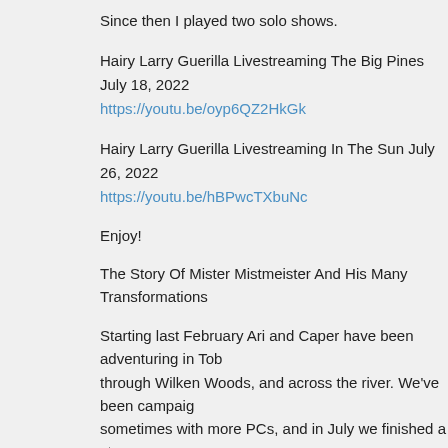Since then I played two solo shows.
Hairy Larry Guerilla Livestreaming The Big Pines July 18, 2022
https://youtu.be/oyp6QZ2HkGk
Hairy Larry Guerilla Livestreaming In The Sun July 26, 2022
https://youtu.be/hBPwcTXbuNc
Enjoy!
The Story Of Mister Mistmeister And His Many Transformations
Starting last February Ari and Caper have been adventuring in Tob through Wilken Woods, and across the river. We've been campaig sometimes with more PCs, and in July we finished a story arc.
I turned all of the session summaries into a booklet that can be do
https://hairylarryland.com/milyagon/
My daughters, Sarah and Megan, have opened a books, games, a Arkansas, and the last three sessions were played at their store.
https://eclecticgeekery.com/